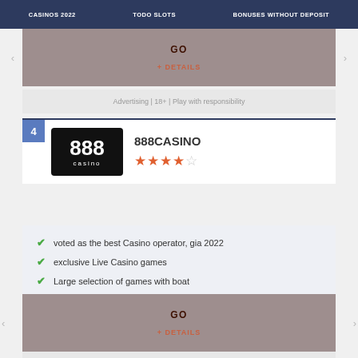CASINOS 2022 | TODO SLOTS | BONUSES WITHOUT DEPOSIT
GO
+ DETAILS
Advertising | 18+ | Play with responsibility
4
[Figure (logo): 888 casino logo - black background with 888 and casino text]
888CASINO
★★★★☆
voted as the best Casino operator, gia 2022
exclusive Live Casino games
Large selection of games with boat
GO
+ DETAILS